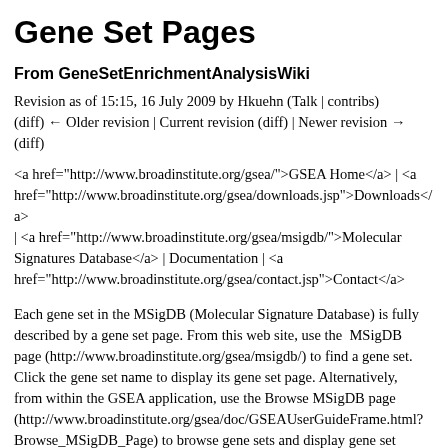Gene Set Pages
From GeneSetEnrichmentAnalysisWiki
Revision as of 15:15, 16 July 2009 by Hkuehn (Talk | contribs) (diff) ← Older revision | Current revision (diff) | Newer revision → (diff)
<a href="http://www.broadinstitute.org/gsea/">GSEA Home</a> | <a href="http://www.broadinstitute.org/gsea/downloads.jsp">Downloads</a> | <a href="http://www.broadinstitute.org/gsea/msigdb/">Molecular Signatures Database</a> | Documentation | <a href="http://www.broadinstitute.org/gsea/contact.jsp">Contact</a>
Each gene set in the MSigDB (Molecular Signature Database) is fully described by a gene set page. From this web site, use the MSigDB page (http://www.broadinstitute.org/gsea/msigdb/) to find a gene set. Click the gene set name to display its gene set page. Alternatively, from within the GSEA application, use the Browse MSigDB page (http://www.broadinstitute.org/gsea/doc/GSEAUserGuideFrame.html? Browse_MSigDB_Page) to browse gene sets and display gene set